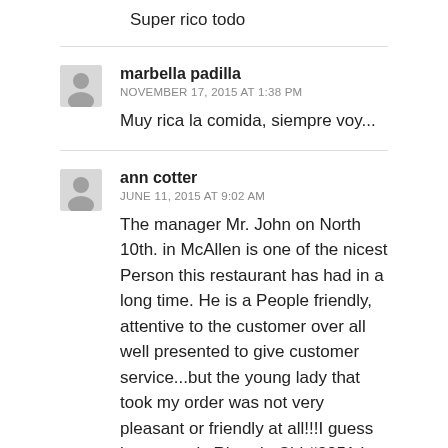Super rico todo
marbella padilla
NOVEMBER 17, 2015 AT 1:38 PM
Muy rica la comida, siempre voy...
ann cotter
JUNE 11, 2015 AT 9:02 AM
The manager Mr. John on North 10th. in McAllen is one of the nicest Person this restaurant has had in a long time. He is a People friendly, attentive to the customer over all well presented to give customer service...but the young lady that took my order was not very pleasant or friendly at all!!!I guess her name is Rhonda Chk#3851 I really enjoy Tony Romas and I do have other choices to eat just wished that the hosts and waiters or servers were better at